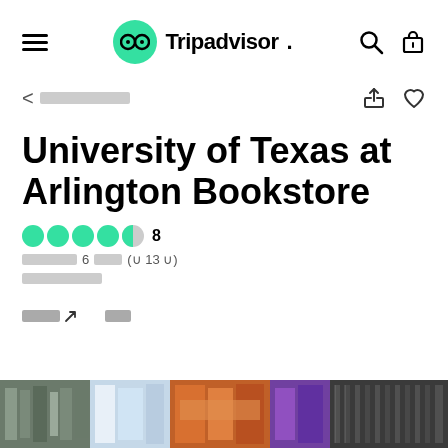Tripadvisor navigation header with hamburger menu, Tripadvisor logo, search and cart icons
< [breadcrumb]
University of Texas at Arlington Bookstore
●●●●◐ 8
[rating detail] 6 [unit] (∪ 13 ∪)
[category text]
[link 1] ↗   [link 2]
[Figure (photo): Photo strip at the bottom showing bookstore interior/merchandise images with blue, orange and gray tones]